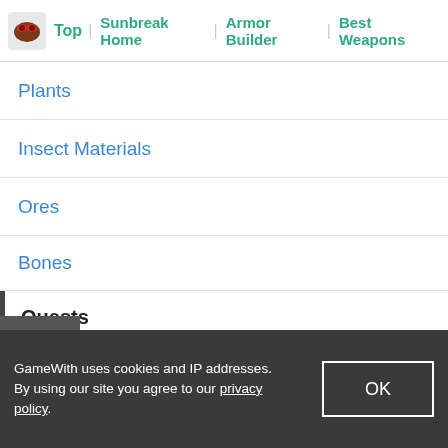Top | Sunbreak Home | Armor Builder | Best Weapons
Plants
Insect Materials
Ores
Bones
Quests
All Quest List
Hub Quest List
Village Quest List
[Figure (photo): Ad or video thumbnail showing a person's face, partially visible, dark background]
GameWith uses cookies and IP addresses. By using our site you agree to our privacy policy.